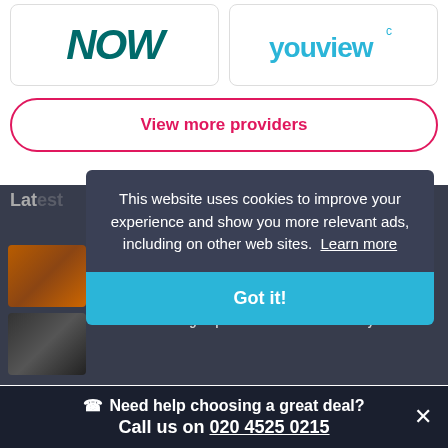[Figure (logo): NOW TV logo in dark teal italic bold font]
[Figure (logo): YouView logo in light blue font]
View more providers
Latest
This website uses cookies to improve your experience and show you more relevant ads, including on other web sites. Learn more
Got it!
The Rings of Power becomes Amazon Prime's most-watched premiere
House of the Dragon premiere made HBO history
Need help choosing a great deal? Call us on 020 4525 0215